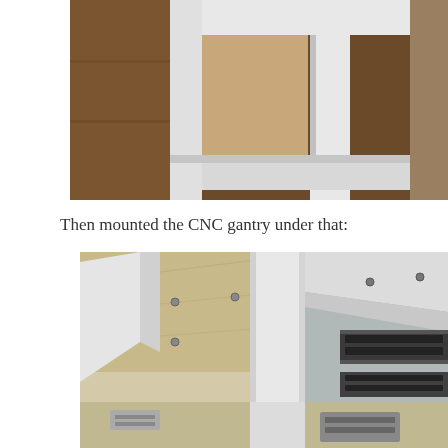[Figure (photo): Close-up photo of white metal frame/shelf corner joints, viewed from below or at an angle, with wooden floor or surface visible underneath.]
Then mounted the CNC gantry under that:
[Figure (photo): Photo taken from below showing the underside of a CNC gantry mounted to a white metal frame structure. A central white vertical support post is visible, along with aluminum extrusion rails with linear bearing components and a plywood spoilboard surface above. The view is looking up at the gantry assembly.]